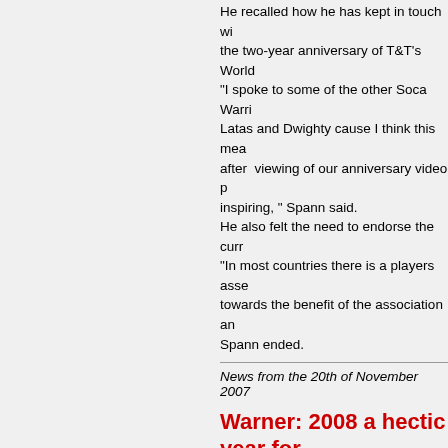He recalled how he has kept in touch with the two-year anniversary of T&T's World "I spoke to some of the other Soca Warri Latas and Dwighty cause I think this mea after  viewing of our anniversary video p inspiring, " Spann said. He also felt the need to endorse the curr "In most countries there is a players asse towards the benefit of the association an Spann ended.
News from the 20th of November 2007
Warner: 2008 a hectic year for By: Shaun Fuentes (TTFF).[/siz
Trinidad and Tobago Football Federation National Senior Team will receive further takes place in Durban on Sunday. Warne Centre of Excellence on Sunday. Warner addressed some matters includin Championship in South Korea, the prepa centennial year which he said could see Sepp Blatter. "Next year will be the 100th anniversary...